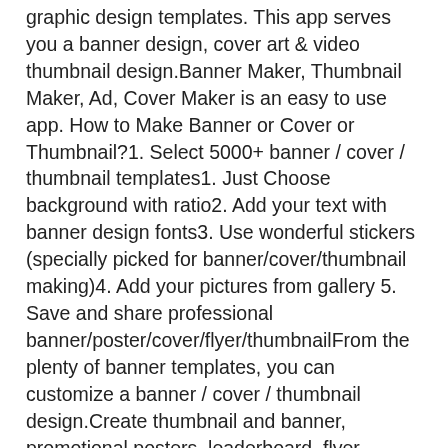graphic design templates. This app serves you a banner design, cover art & video thumbnail design.Banner Maker, Thumbnail Maker, Ad, Cover Maker is an easy to use app. How to Make Banner or Cover or Thumbnail?1. Select 5000+ banner / cover / thumbnail templates1. Just Choose background with ratio2. Add your text with banner design fonts3. Use wonderful stickers (specially picked for banner/cover/thumbnail making)4. Add your pictures from gallery 5. Save and share professional banner/poster/cover/flyer/thumbnailFrom the plenty of banner templates, you can customize a banner / cover / thumbnail design.Create thumbnail and banner, promotional posters, leaderboard, flyer, advertisement, offer announcements, cover photos on the go with amazing backgrounds, texture, effects, fonts, sticker and get the attention you want.Key Features:- Easy & Quick